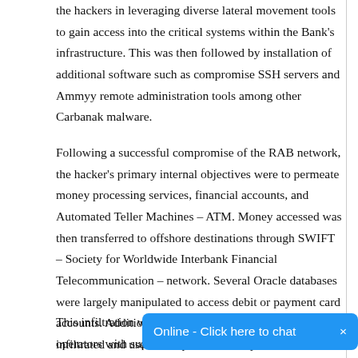the hackers in leveraging diverse lateral movement tools to gain access into the critical systems within the Bank's infrastructure. This was then followed by installation of additional software such as compromise SSH servers and Ammyy remote administration tools among other Carbanak malware.
Following a successful compromise of the RAB network, the hacker's primary internal objectives were to permeate money processing services, financial accounts, and Automated Teller Machines – ATM. Money accessed was then transferred to offshore destinations through SWIFT – Society for Worldwide Interbank Financial Telecommunication – network. Several Oracle databases were largely manipulated to access debit or payment card accounts. Additionally, the ATM network was further infiltrated and used to dispense currency from certain locations and times when money mules were standing by to collect it.
This infiltration was made s… impersonating legit Bank operators with superior access levels